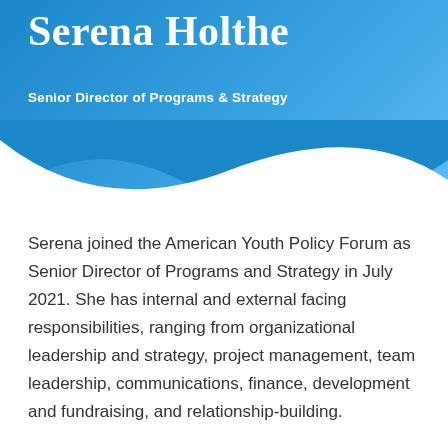Serena Holthe
Senior Director of Programs & Strategy
Serena joined the American Youth Policy Forum as Senior Director of Programs and Strategy in July 2021. She has internal and external facing responsibilities, ranging from organizational leadership and strategy, project management, team leadership, communications, finance, development and fundraising, and relationship-building.